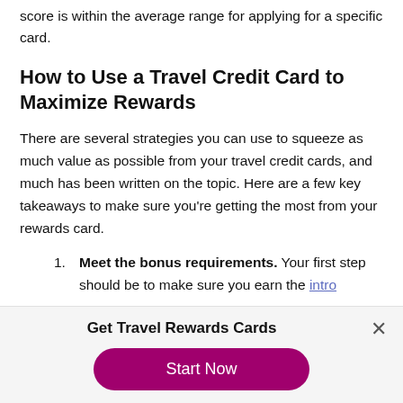score is within the average range for applying for a specific card.
How to Use a Travel Credit Card to Maximize Rewards
There are several strategies you can use to squeeze as much value as possible from your travel credit cards, and much has been written on the topic. Here are a few key takeaways to make sure you're getting the most from your rewards card.
Meet the bonus requirements. Your first step should be to make sure you earn the intro
Get Travel Rewards Cards
Start Now